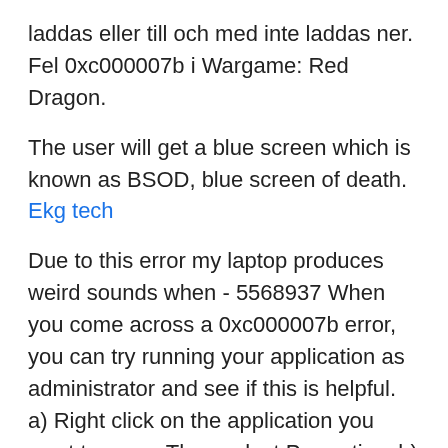laddas eller till och med inte laddas ner. Fel 0xc000007b i Wargame: Red Dragon.
The user will get a blue screen which is known as BSOD, blue screen of death.
Ekg tech
Due to this error my laptop produces weird sounds when - 5568937 When you come across a 0xc000007b error, you can try running your application as administrator and see if this is helpful. a) Right click on the application you want to open. Then select Properties. b) Go to Compatibility tab.
Способ 1. 4 Ошибка 0xc000007b при запуске приложения: как исправить? 4.1 Из-за чего